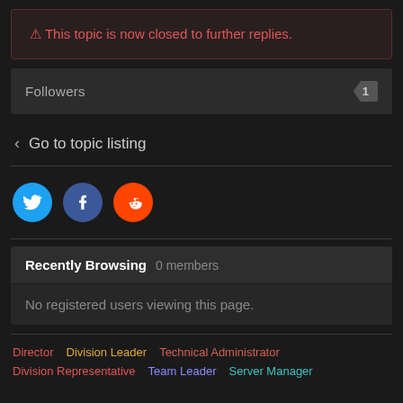⚠ This topic is now closed to further replies.
Followers  1
< Go to topic listing
[Figure (infographic): Three social media share buttons: Twitter (blue circle), Facebook (dark blue circle), Reddit (orange circle)]
Recently Browsing  0 members
No registered users viewing this page.
Director  Division Leader  Technical Administrator  Division Representative  Team Leader  Server Manager